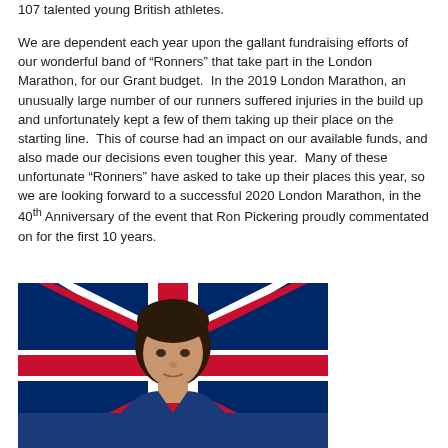107 talented young British athletes.
We are dependent each year upon the gallant fundraising efforts of our wonderful band of “Ronners” that take part in the London Marathon, for our Grant budget. In the 2019 London Marathon, an unusually large number of our runners suffered injuries in the build up and unfortunately kept a few of them taking up their place on the starting line. This of course had an impact on our available funds, and also made our decisions even tougher this year. Many of these unfortunate “Ronners” have asked to take up their places this year, so we are looking forward to a successful 2020 London Marathon, in the 40th Anniversary of the event that Ron Pickering proudly commentated on for the first 10 years.
[Figure (photo): Portrait photo of a young male athlete in a blue athletic vest, with a Union Jack (British flag) in the background showing red and white diagonal stripes.]